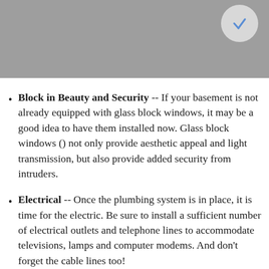[Figure (photo): Gray image area at top of page with a circular icon containing a blue checkmark or pen in the upper right corner]
Block in Beauty and Security -- If your basement is not already equipped with glass block windows, it may be a good idea to have them installed now. Glass block windows () not only provide aesthetic appeal and light transmission, but also provide added security from intruders.
Electrical -- Once the plumbing system is in place, it is time for the electric. Be sure to install a sufficient number of electrical outlets and telephone lines to accommodate televisions, lamps and computer modems. And don't forget the cable lines too!